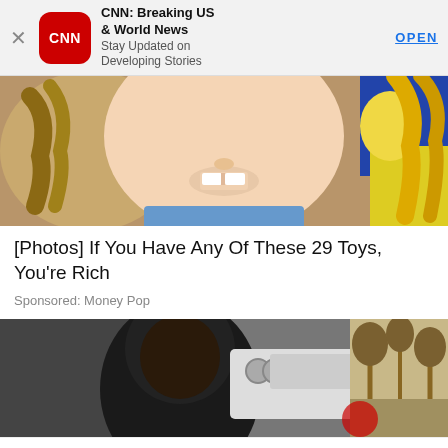[Figure (screenshot): CNN app advertisement banner with close X button, CNN red rounded square logo, app name 'CNN: Breaking US & World News', subtitle 'Stay Updated on Developing Stories', and blue OPEN button]
[Figure (photo): Close-up photo of a doll's face with blonde braids and a smiling expression, with colorful background]
[Photos] If You Have Any Of These 29 Toys, You're Rich
Sponsored: Money Pop
[Figure (photo): Person in black hoodie photographed from behind near a vehicle, with outdoor scene in background]
[Figure (screenshot): CNN Related article card with CNN logo in red, RELATED label in red, X close button, headline 'Lion mauls man to death after he enters enclosure at Ghana zoo', and a thumbnail photo of an outdoor scene with vehicles]